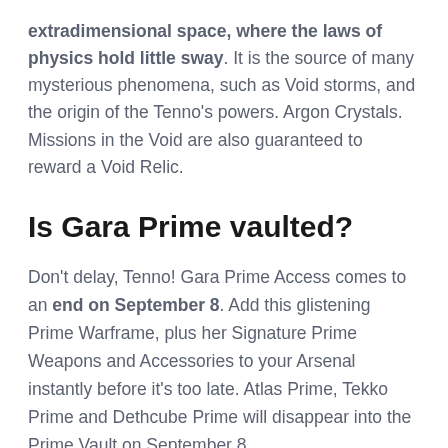extradimensional space, where the laws of physics hold little sway. It is the source of many mysterious phenomena, such as Void storms, and the origin of the Tenno's powers. Argon Crystals. Missions in the Void are also guaranteed to reward a Void Relic.
Is Gara Prime vaulted?
Don't delay, Tenno! Gara Prime Access comes to an end on September 8. Add this glistening Prime Warframe, plus her Signature Prime Weapons and Accessories to your Arsenal instantly before it's too late. Atlas Prime, Tekko Prime and Dethcube Prime will disappear into the Prime Vault on September 8